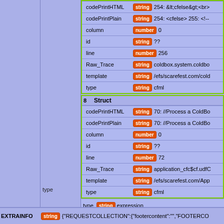| Field | Type | Value |
| --- | --- | --- |
| codePrintHTML | string | 254: &lt;cfelse&gt;&lt;br&gt;... |
| codePrintPlain | string | 254: <cfelse> 255: <!--... |
| column | number | 0 |
| id | string | ?? |
| line | number | 256 |
| Raw_Trace | string | coldbox.system.coldbo... |
| template | string | /efs/scarefest.com/cold... |
| type | string | cfml |
| [8] Struct |  |  |
| codePrintHTML | string | 70: //Process a ColdBo... |
| codePrintPlain | string | 70: //Process a ColdBo... |
| column | number | 0 |
| id | string | ?? |
| line | number | 72 |
| Raw_Trace | string | application_cfc$cf.udfC... |
| template | string | /efs/scarefest.com/App... |
| type | string | cfml |
| type | string | expression |
| EXTRAINFO | string | {"REQUESTCOLLECTION":{"footercontent":"","FOOTERCO... |